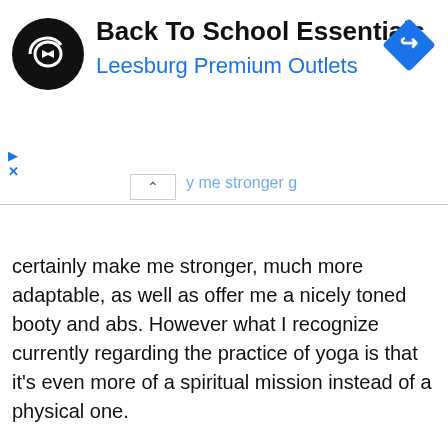[Figure (screenshot): Advertisement banner for Back To School Essentials at Leesburg Premium Outlets, showing a circular logo with infinity symbol, blue direction sign diamond icon, and ad controls]
certainly make me stronger, much more adaptable, as well as offer me a nicely toned booty and abs. However what I recognize currently regarding the practice of yoga is that it's even more of a spiritual mission instead of a physical one.
[Figure (logo): Back to top button - circular black button with yellow italic text reading 'back to top']